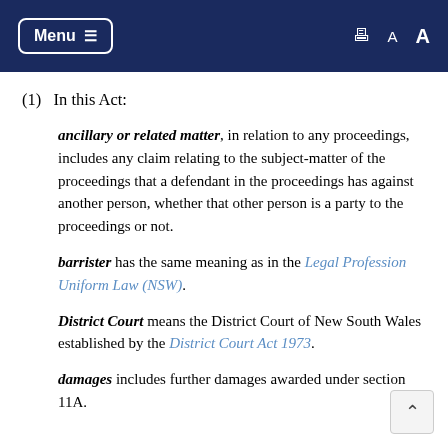Menu  [print] A A
(1)  In this Act:
ancillary or related matter, in relation to any proceedings, includes any claim relating to the subject-matter of the proceedings that a defendant in the proceedings has against another person, whether that other person is a party to the proceedings or not.
barrister has the same meaning as in the Legal Profession Uniform Law (NSW).
District Court means the District Court of New South Wales established by the District Court Act 1973.
damages includes further damages awarded under section 11A.